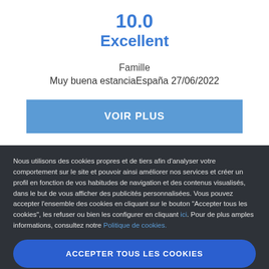10.0
Excellent
Famille
Muy buena estanciaEspaña 27/06/2022
VOIR PLUS
Nous utilisons des cookies propres et de tiers afin d'analyser votre comportement sur le site et pouvoir ainsi améliorer nos services et créer un profil en fonction de vos habitudes de navigation et des contenus visualisés, dans le but de vous afficher des publicités personnalisées. Vous pouvez accepter l'ensemble des cookies en cliquant sur le bouton "Accepter tous les cookies", les refuser ou bien les configurer en cliquant ici. Pour de plus amples informations, consultez notre Politique de cookies.
ACCEPTER TOUS LES COOKIES